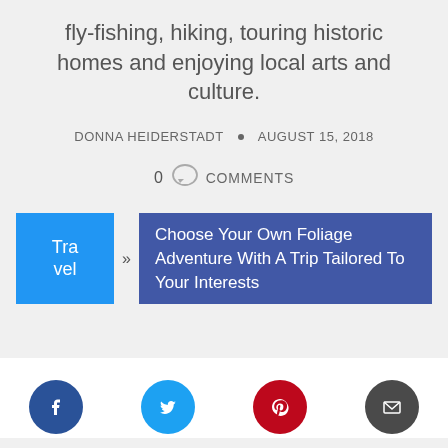fly-fishing, hiking, touring historic homes and enjoying local arts and culture.
DONNA HEIDERSTADT • AUGUST 15, 2018
0 COMMENTS
Travel » Choose Your Own Foliage Adventure With A Trip Tailored To Your Interests
[Figure (infographic): Social share icons: Facebook (blue circle), Twitter (cyan circle), Pinterest (red circle), Email (dark grey circle)]